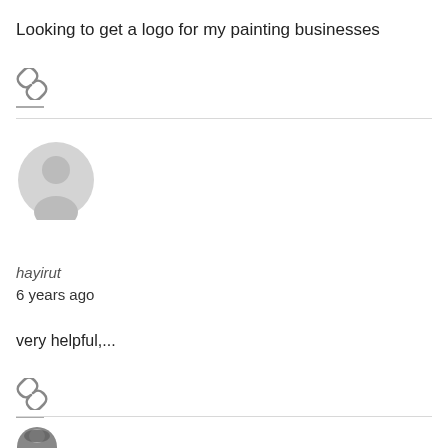Looking to get a logo for my painting businesses
[Figure (other): Link/chain icon]
[Figure (other): Default user avatar circle icon]
hayirut
6 years ago
very helpful,...
[Figure (other): Link/chain icon]
[Figure (photo): Partial user avatar photo at bottom of page]